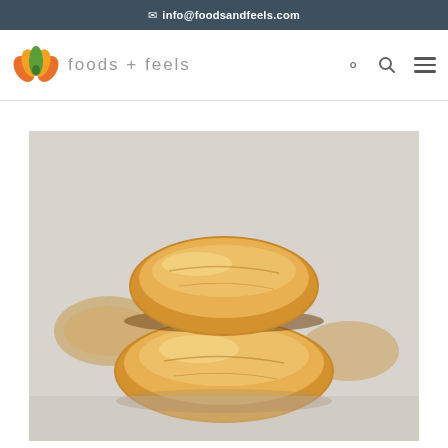✉ info@foodsandfeels.com
[Figure (logo): Foods + Feels lotus logo with orange and green petals and the text 'foods + feels']
[Figure (photo): Close-up photograph of stacked glazed biscuits or pastries on a white surface, golden-brown with a shiny glaze, blurred background]